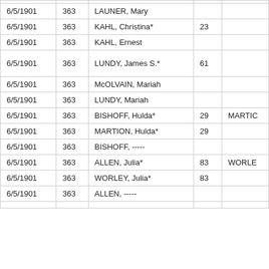| Date | Num | Name | Age | Extra |
| --- | --- | --- | --- | --- |
|  |  |  |  |  |
| 6/5/1901 | 363 | LAUNER, Mary |  |  |
| 6/5/1901 | 363 | KAHL, Christina* | 23 |  |
| 6/5/1901 | 363 | KAHL, Ernest |  |  |
| 6/5/1901 | 363 | LUNDY, James S.* | 61 |  |
| 6/5/1901 | 363 | McOLVAIN, Mariah |  |  |
| 6/5/1901 | 363 | LUNDY, Mariah |  |  |
| 6/5/1901 | 363 | BISHOFF, Hulda* | 29 | MARTIC |
| 6/5/1901 | 363 | MARTION, Hulda* | 29 |  |
| 6/5/1901 | 363 | BISHOFF, ----- |  |  |
| 6/5/1901 | 363 | ALLEN, Julia* | 83 | WORLE |
| 6/5/1901 | 363 | WORLEY, Julia* | 83 |  |
| 6/5/1901 | 363 | ALLEN, ----- |  |  |
|  |  |  |  |  |